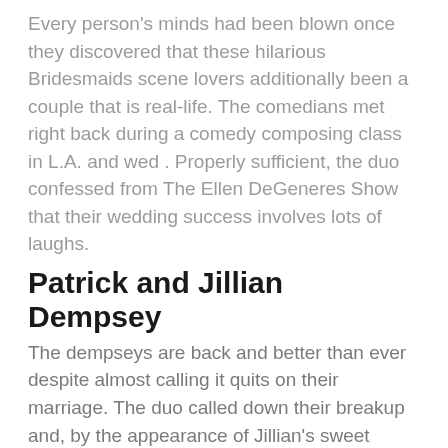Every person's minds had been blown once they discovered that these hilarious Bridesmaids scene lovers additionally been a couple that is real-life. The comedians met right back during a comedy composing class in L.A. and wed . Properly sufficient, the duo confessed from The Ellen DeGeneres Show that their wedding success involves lots of laughs.
Patrick and Jillian Dempsey
The dempseys are back and better than ever despite almost calling it quits on their marriage. The duo called down their breakup and, by the appearance of Jillian's sweet anniversary note, Dr. McDreamy along with his wife are thriving.
Denzel and Pauletta Washington
Despite the fact that Pauletta needed to foot the cab bill on the date that is first lovebirds have now been hitched , making their wedding certainly one of Hollywood's longest. Denzel additionally evidently